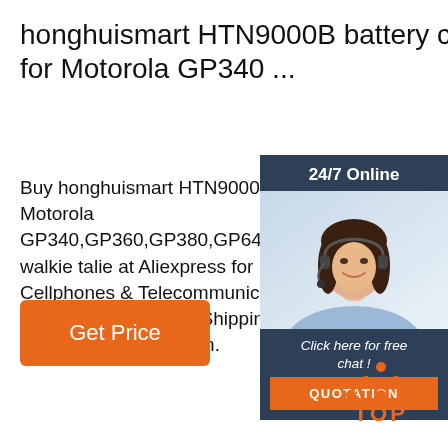honghuismart HTN9000B battery charger for Motorola GP340 ...
Buy honghuismart HTN9000B battery charger for Motorola GP340,GP360,GP380,GP640,GP680,G walkie talie at Aliexpress for US $23.00. Cellphones & Telecommunications, Walkie products. Enjoy Free Shipping Worldwide! Time Sale Easy Return.
[Figure (photo): Customer service representative woman with headset, with '24/7 Online' header, 'Click here for free chat!' text, and orange QUOTATION button, on dark blue background]
[Figure (other): Orange 'Get Price' button]
[Figure (logo): TOP logo with orange dots arranged in triangle above the word TOP in orange]